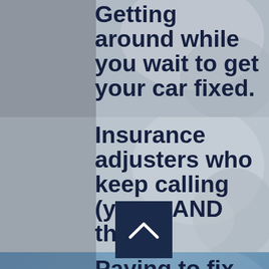Getting around while you wait to get your car fixed.
Insurance adjusters who keep calling (yours AND theirs).
Paying to fix or replace things that were broken in the wreck.
[Figure (illustration): Navigation chevron/up arrow button in dark navy blue square]